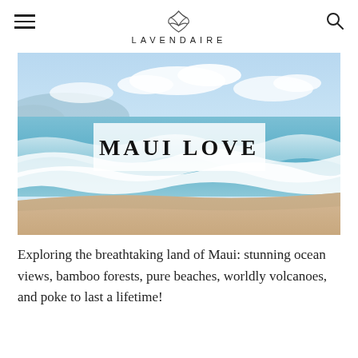LAVENDAIRE
[Figure (photo): Beach scene with ocean waves, blue sky with clouds, and sandy shore. Text overlay reads 'MAUI LOVE' in large serif letters on a semi-transparent white box.]
Exploring the breathtaking land of Maui: stunning ocean views, bamboo forests, pure beaches, worldly volcanoes, and poke to last a lifetime!